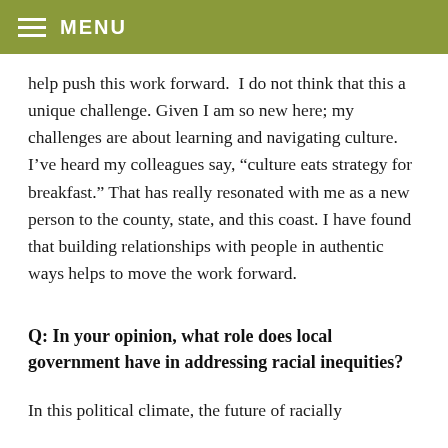MENU
help push this work forward. I do not think that this a unique challenge. Given I am so new here; my challenges are about learning and navigating culture. I’ve heard my colleagues say, “culture eats strategy for breakfast.” That has really resonated with me as a new person to the county, state, and this coast. I have found that building relationships with people in authentic ways helps to move the work forward.
Q: In your opinion, what role does local government have in addressing racial inequities?
In this political climate, the future of racially